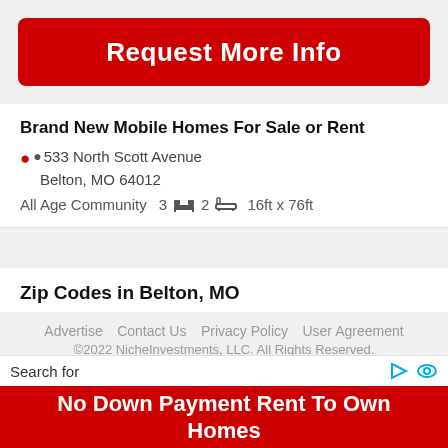[Figure (other): Red button with white bold text 'Request More Info']
Brand New Mobile Homes For Sale or Rent
533 North Scott Avenue
Belton, MO 64012
All Age Community  3  2  16ft x 76ft
Zip Codes in Belton, MO
64012 Mobile Homes for Sale
Advertise  Contact Us  Privacy Policy  User Agreement
©2022 NicheInvestments, LLC. All Rights Reserved.
Search for
[Figure (other): Red ad banner with white bold text 'No Down Payment Rent To Own Homes']